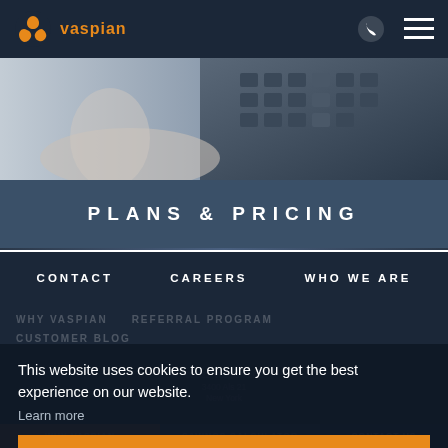vaspian
[Figure (photo): Person's hand near a calculator/keyboard on a desk, dark background]
PLANS & PRICING
CONTACT   CAREERS   WHO WE ARE
WHY VASPIAN   REFERRAL PROGRAM
CUSTOMER BLOG
This website uses cookies to ensure you get the best experience on our website.
Learn more
Got it!
©2022 Vaspian LLC
3400 ALS 21
New York
Why Vaspian   Savings Calculator   Contact Us